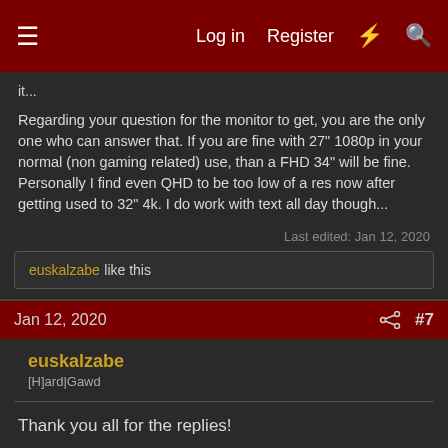Log in  Register  [lightning icon]  [search icon]
it...
Regarding your question for the monitor to get, you are the only one who can answer that. If you are fine with 27" 1080p in your normal (non gaming related) use, than a FHD 34" will be fine. Personally I find even QHD to be too low of a res now after getting used to 32" 4k. I do work with text all day though...
Last edited: Jan 12, 2020
euskalzabe like this
Jan 12, 2020  #7
euskalzabe
[H]ard|Gawd
Thank you all for the replies!